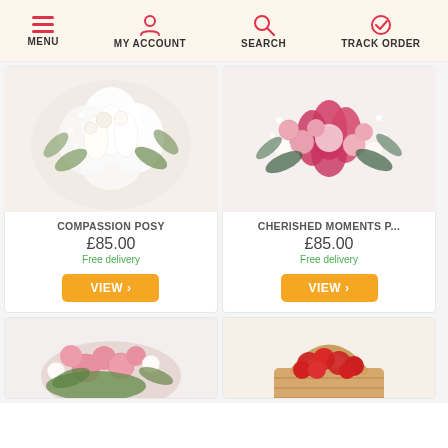MENU  MY ACCOUNT  SEARCH  TRACK ORDER
[Figure (photo): White flower bouquet - Compassion Posy]
COMPASSION POSY
£85.00
Free delivery
[Figure (photo): Pink and red flower bouquet - Cherished Moments P...]
CHERISHED MOMENTS P...
£85.00
Free delivery
[Figure (photo): Pink roses arrangement - bottom left]
[Figure (photo): Red carnations in basket - bottom right]